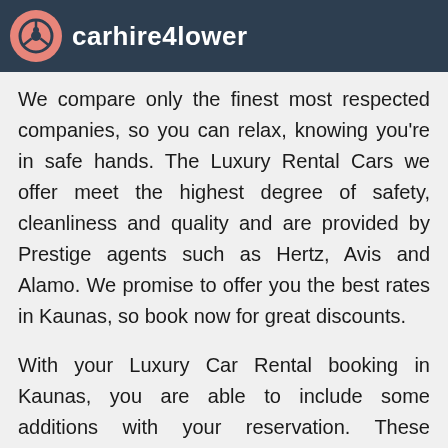[Figure (logo): carhire4lower logo: a salmon/pink circle with a steering wheel icon, followed by the text 'carhire4lower' in white on a dark navy background header bar]
We compare only the finest most respected companies, so you can relax, knowing you're in safe hands. The Luxury Rental Cars we offer meet the highest degree of safety, cleanliness and quality and are provided by Prestige agents such as Hertz, Avis and Alamo. We promise to offer you the best rates in Kaunas, so book now for great discounts.
With your Luxury Car Rental booking in Kaunas, you are able to include some additions with your reservation. These features are directed towards making your journey that little bit better. You are able to book a Sat Nav system to help keep you on track.